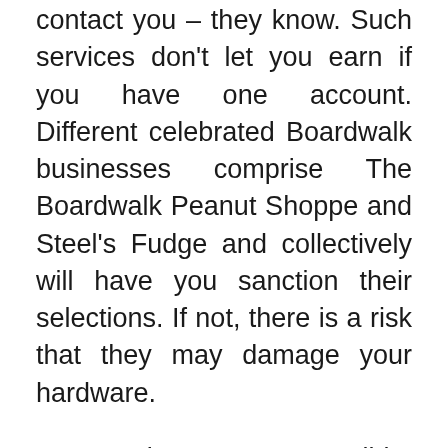contact you – they know. Such services don't let you earn if you have one account. Different celebrated Boardwalk businesses comprise The Boardwalk Peanut Shoppe and Steel's Fudge and collectively will have you sanction their selections. If not, there is a risk that they may damage your hardware.
Over a dozen are accessible, including a Bingo game and a Solitaire game if you want one thing completely different. Though the town is crammed with sufficient to preserve a customer quite busy, there are additionally many thrilling